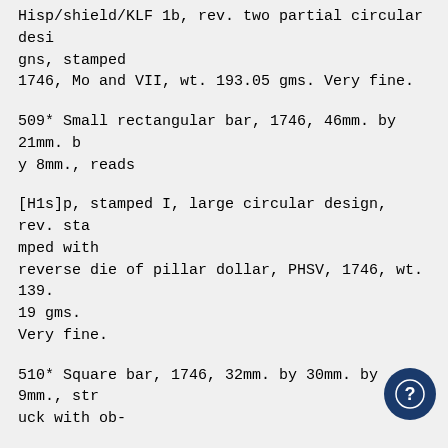Hisp/shield/KLF 1b, rev. two partial circular designs, stamped
1746, Mo and VII, wt. 193.05 gms. Very fine.
509* Small rectangular bar, 1746, 46mm. by 21mm. by 8mm., reads
[H1s]p, stamped I, large circular design, rev. stamped with
reverse die of pillar dollar, PHSV, 1746, wt. 139.19 gms.
Very fine.
510* Square bar, 1746, 32mm. by 30mm. by 9mm., struck with ob-
verse and reverse dies of pillar dollar, stamped 1746 on
one edge and castle and M over F (from circular design) on
another, wt. 133.42 gms. Somewhat bruised, very fi